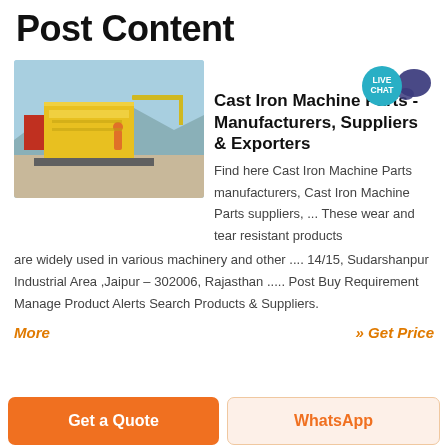Post Content
[Figure (photo): Industrial cast iron machine parts / yellow industrial conveyor/screening equipment photographed outdoors]
Cast Iron Machine Parts - Manufacturers, Suppliers & Exporters
Find here Cast Iron Machine Parts manufacturers, Cast Iron Machine Parts suppliers, ... These wear and tear resistant products are widely used in various machinery and other .... 14/15, Sudarshanpur Industrial Area ,Jaipur - 302006, Rajasthan ..... Post Buy Requirement Manage Product Alerts Search Products & Suppliers.
More
» Get Price